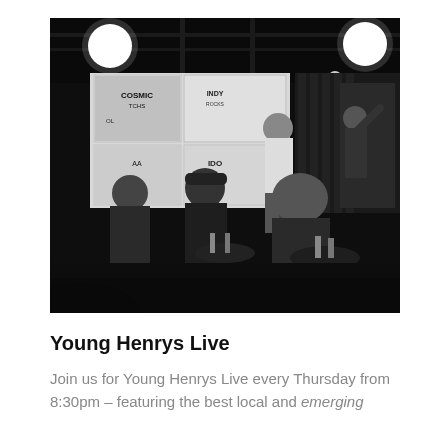[Figure (photo): Black and white photograph of a dimly lit bar or venue interior. People are seated and standing around tables. The back wall is covered in concert/event posters. Two round white ceiling lights are visible. A person in a white shirt stands near the back. The scene has a lively, moody atmosphere typical of a live music venue.]
Young Henrys Live
Join us for Young Henrys Live every Thursday from 8:30pm – featuring the best local and emerging